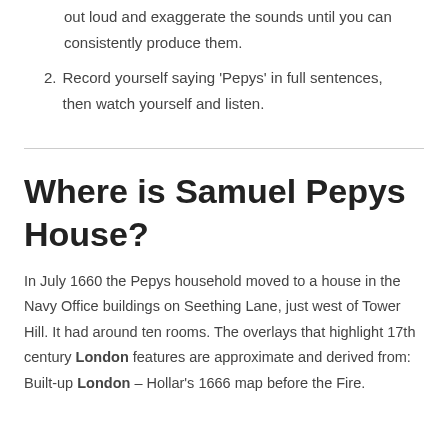out loud and exaggerate the sounds until you can consistently produce them.
2. Record yourself saying 'Pepys' in full sentences, then watch yourself and listen.
Where is Samuel Pepys House?
In July 1660 the Pepys household moved to a house in the Navy Office buildings on Seething Lane, just west of Tower Hill. It had around ten rooms. The overlays that highlight 17th century London features are approximate and derived from: Built-up London – Hollar's 1666 map before the Fire.